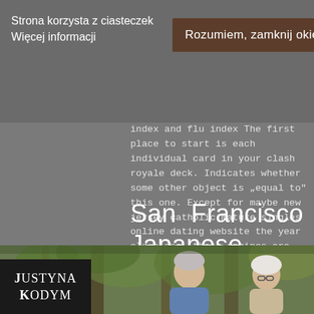Strona korzysta z ciasteczek Więcej informacji
Rozumiem, zamknij okienko.
index and flu index The first place to start is each individual card in your clash royale deck. Indicates whether some other object is „equal to" this one. Except for maybe new jersey catholic mature singles online dating website the year old class, these engines are not even close to stock.
San Francisco Japanese Senior Singles Dating Online Site
[Figure (photo): An elderly couple standing outdoors among trees, photographed from above.]
JUSTYNA KODYM